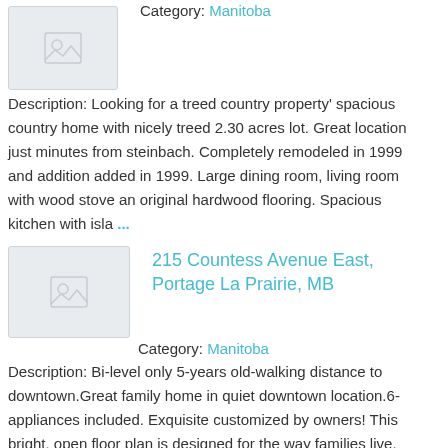[Figure (photo): Placeholder thumbnail image for first listing]
Category: Manitoba
Description: Looking for a treed country property' spacious country home with nicely treed 2.30 acres lot. Great location just minutes from steinbach. Completely remodeled in 1999 and addition added in 1999. Large dining room, living room with wood stove an original hardwood flooring. Spacious kitchen with isla ...
[Figure (photo): Placeholder thumbnail image for 215 Countess Avenue East listing]
215 Countess Avenue East, Portage La Prairie, MB
Category: Manitoba
Description: Bi-level only 5-years old-walking distance to downtown.Great family home in quiet downtown location.6-appliances included. Exquisite customized by owners! This bright, open floor plan is designed for the way families live. Great curb appeal with stone accents o the front of the house. Island in kit ...
[Figure (photo): Placeholder thumbnail image for 1013 12th Street listing]
1013 12th Street, Brandon, MB
Category: Manitoba
Description: Ideal well maintained tri-plex with